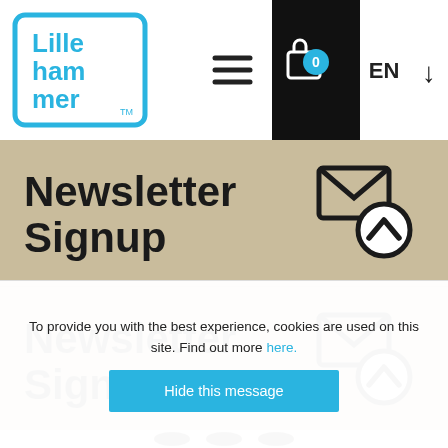[Figure (logo): Lillehammer logo with blue and black text]
[Figure (infographic): Navigation icons: hamburger menu, briefcase with 0 badge, EN language selector with down arrow]
Newsletter Signup
[Figure (infographic): Email envelope icon with upward chevron circle]
Newsletter Signup
[Figure (infographic): Email envelope icon with upward chevron circle]
[Figure (infographic): Social media icons: Facebook, Instagram, YouTube]
To provide you with the best experience, cookies are used on this site. Find out more here.
Hide this message